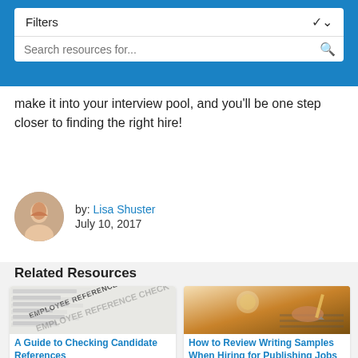[Figure (screenshot): Blue header bar with Filters dropdown and search bar]
make it into your interview pool, and you'll be one step closer to finding the right hire!
by: Lisa Shuster
July 10, 2017
Related Resources
[Figure (photo): Employee Reference Check form document]
A Guide to Checking Candidate References
[Figure (photo): Person writing in notebook with pencil]
How to Review Writing Samples When Hiring for Publishing Jobs